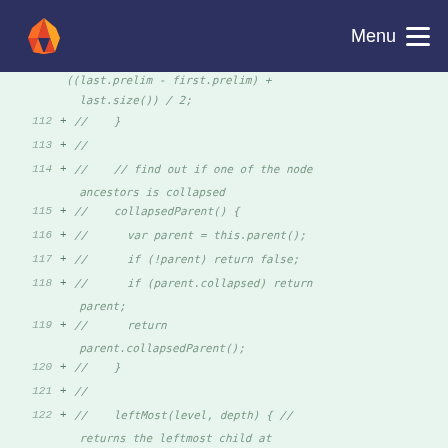Menu
[Figure (screenshot): GitLab code diff view showing commented-out JavaScript code lines 112-124, with line numbers and + markers indicating added lines, light green background]
((last.prelim - first.prelim) + last.size()) / 2;
112 + //    }
113 + //
114 + //    // find out if one of the node ancestors is collapsed
115 + //    collapsedParent() {
116 + //      var parent = this.parent();
117 + //      if (!parent) return false;
118 + //      if (parent.collapsed) return parent;
119 + //      return parent.collapsedParent();
120 + //    }
121 + //
122 + //    leftMost(level, depth) { // returns the leftmost child at specific level, (initaial level = 0)
123 + //
124 + //      if (level >= depth) return